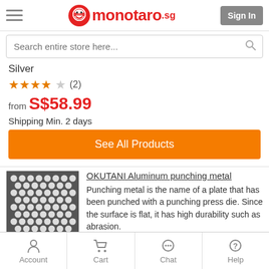monotaro.sg — Sign In
Search entire store here...
Silver
★★★★☆ (2)
from S$58.99
Shipping Min. 2 days
See All Products
OKUTANI Aluminum punching metal
Punching metal is the name of a plate that has been punched with a punching press die. Since the surface is flat, it has high durability such as abrasion.
Account | Cart | Chat | Help